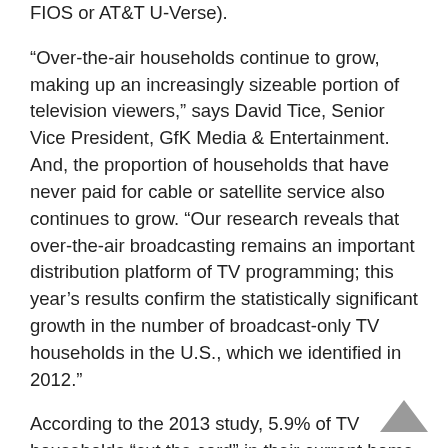FIOS or AT&T U-Verse).
“Over-the-air households continue to grow, making up an increasingly sizeable portion of television viewers,” says David Tice, Senior Vice President, GfK Media & Entertainment. And, the proportion of households that have never paid for cable or satellite service also continues to grow. “Our research reveals that over-the-air broadcasting remains an important distribution platform of TV programming; this year’s results confirm the statistically significant growth in the number of broadcast-only TV households in the U.S., which we identified in 2012.”
According to the 2013 study, 5.9% of TV households “cut the cord” in their current home at